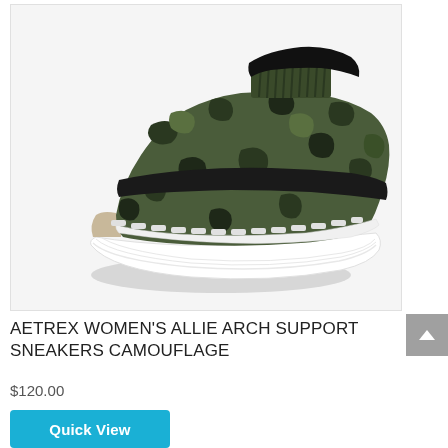[Figure (photo): A camouflage-patterned slip-on sneaker (Aetrex Women's Allie Arch Support Sneaker) with a black elastic strap across the top, green and black camouflage knit upper, and a white chunky sole. Photographed on a white background.]
AETREX WOMEN'S ALLIE ARCH SUPPORT SNEAKERS CAMOUFLAGE
$120.00
Quick View